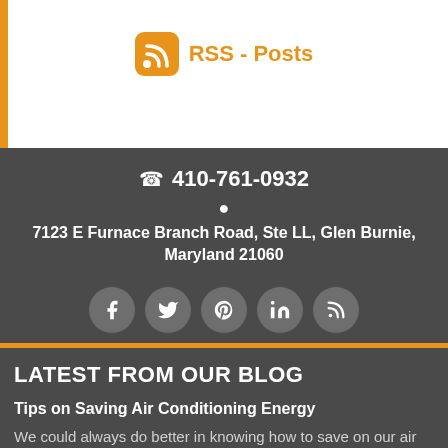RSS - Posts
410-761-0932
7123 E Furnace Branch Road, Ste LL, Glen Burnie, Maryland 21060
[Figure (infographic): Social media icon circles: Facebook, Twitter, Pinterest, LinkedIn, RSS]
LATEST FROM OUR BLOG
Tips on Saving Air Conditioning Energy
We could always do better in knowing how to save on our air conditioning bills. The latest design Modern...